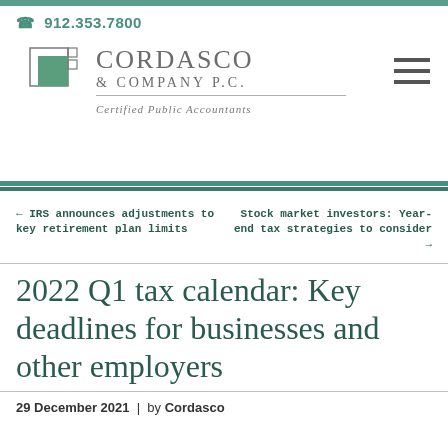912.353.7800
[Figure (logo): Cordasco & Company P.C. Certified Public Accountants logo with teal square graphic elements]
← IRS announces adjustments to key retirement plan limits
Stock market investors: Year-end tax strategies to consider →
2022 Q1 tax calendar: Key deadlines for businesses and other employers
29 December 2021 | by Cordasco